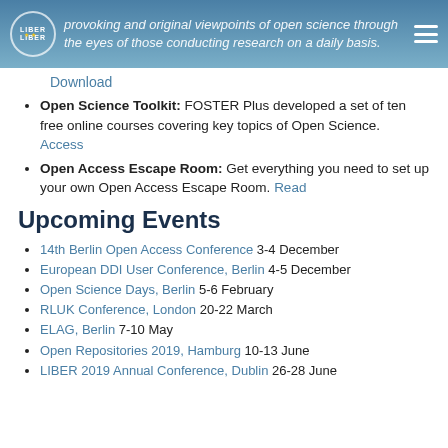provoking and original viewpoints of open science through the eyes of those conducting research on a daily basis.
Download
Open Science Toolkit: FOSTER Plus developed a set of ten free online courses covering key topics of Open Science. Access
Open Access Escape Room: Get everything you need to set up your own Open Access Escape Room. Read
Upcoming Events
14th Berlin Open Access Conference 3-4 December
European DDI User Conference, Berlin 4-5 December
Open Science Days, Berlin 5-6 February
RLUK Conference, London 20-22 March
ELAG, Berlin 7-10 May
Open Repositories 2019, Hamburg 10-13 June
LIBER 2019 Annual Conference, Dublin 26-28 June